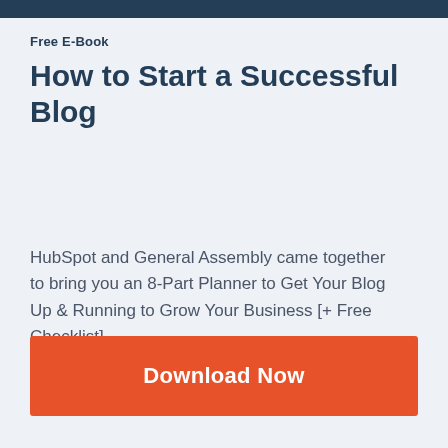Free E-Book
How to Start a Successful Blog
HubSpot and General Assembly came together to bring you an 8-Part Planner to Get Your Blog Up & Running to Grow Your Business [+ Free Checklist].
Download Now